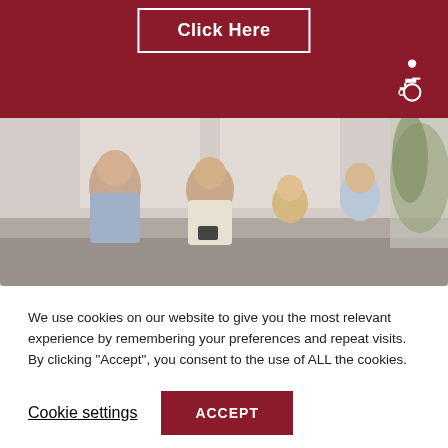Click Here
[Figure (photo): Accessibility/wheelchair icon in white on dark red background]
[Figure (photo): Family of four sitting on a couch together, smiling, with a plant and large window in the background]
We use cookies on our website to give you the most relevant experience by remembering your preferences and repeat visits. By clicking “Accept”, you consent to the use of ALL the cookies.
Cookie settings   ACCEPT